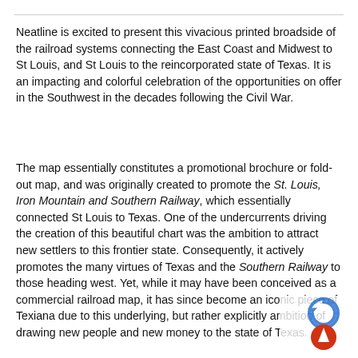Neatline is excited to present this vivacious printed broadside of the railroad systems connecting the East Coast and Midwest to St Louis, and St Louis to the reincorporated state of Texas. It is an impacting and colorful celebration of the opportunities on offer in the Southwest in the decades following the Civil War.
The map essentially constitutes a promotional brochure or fold-out map, and was originally created to promote the St. Louis, Iron Mountain and Southern Railway, which essentially connected St Louis to Texas. One of the undercurrents driving the creation of this beautiful chart was the ambition to attract new settlers to this frontier state. Consequently, it actively promotes the many virtues of Texas and the Southern Railway to those heading west. Yet, while it may have been conceived as a commercial railroad map, it has since become an iconic piece of Texiana due to this underlying, but rather explicitly ambition of drawing new people and new money to the state of Texas.